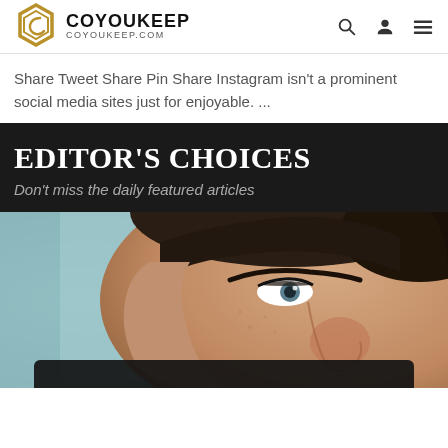COYOUKEEP / COYOUKEEP.COM
Share Tweet Share Pin Share Instagram isn't a prominent social media sites just for enjoyable. ...
EDITOR'S CHOICES
Don't miss the daily featured articles
[Figure (photo): Close-up portrait photo of a young man's face, slight upward gaze, teal-blurred background on left, warm skin tones dominant]